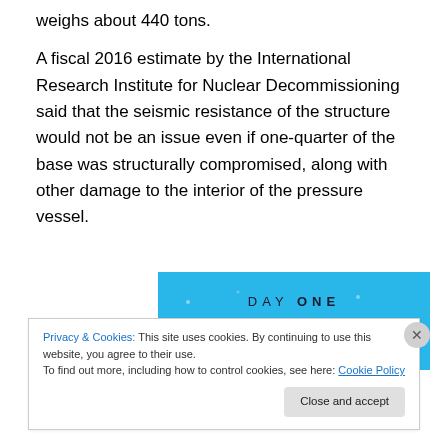weighs about 440 tons.
A fiscal 2016 estimate by the International Research Institute for Nuclear Decommissioning said that the seismic resistance of the structure would not be an issue even if one-quarter of the base was structurally compromised, along with other damage to the interior of the pressure vessel.
[Figure (other): DAY ONE app advertisement banner with blue background. Text reads: 'DAY ONE - The only journaling app you'll ever need.']
Privacy & Cookies: This site uses cookies. By continuing to use this website, you agree to their use.
To find out more, including how to control cookies, see here: Cookie Policy
Close and accept